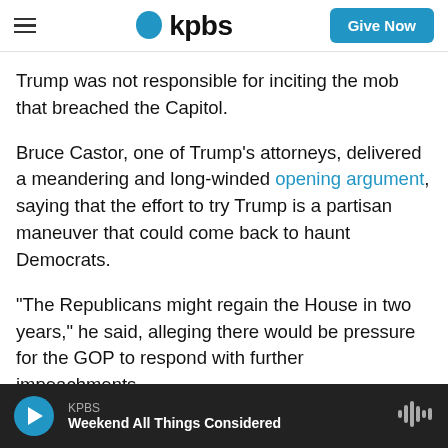kpbs | Give Now
Trump was not responsible for inciting the mob that breached the Capitol.
Bruce Castor, one of Trump's attorneys, delivered a meandering and long-winded opening argument, saying that the effort to try Trump is a partisan maneuver that could come back to haunt Democrats.
"The Republicans might regain the House in two years," he said, alleging there would be pressure for the GOP to respond with further impeachments.
KPBS | Weekend All Things Considered